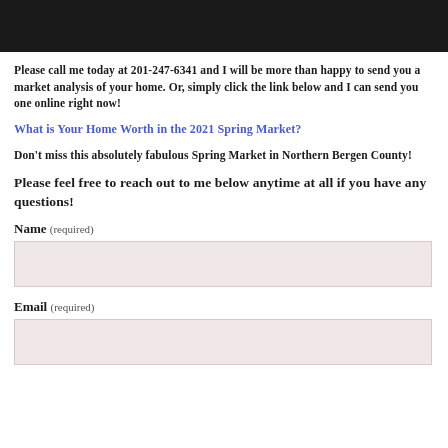[Figure (photo): Dark photo bar at the top of the page showing a person in dark clothing]
Please call me today at 201-247-6341 and I will be more than happy to send you a market analysis of your home. Or, simply click the link below and I can send you one online right now!
What is Your Home Worth in the 2021 Spring Market?
Don't miss this absolutely fabulous Spring Market in Northern Bergen County!
Please feel free to reach out to me below anytime at all if you have any questions!
Name (required)
Email (required)